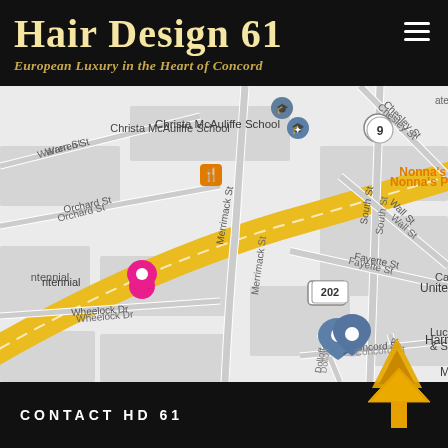Hair Design 61 — European Luxury in the Heart of Concord
[Figure (map): Google Maps view of Concord, NH area showing streets including Merrimack St, Route 202, South St, Chesley St, Wall St, Fayette St, Warren St, Orchard St, Wheelock Dr, Dolloff, Howard R, Concord St, and landmarks including Christa McAuliffe School, Nonna's Place, United Baptist Church, Harriet Huntress House, Moderno Barbershop, Lucky's Bar & Shav, with a blue location pin on Harriet Huntress House.]
CONTACT HD 61